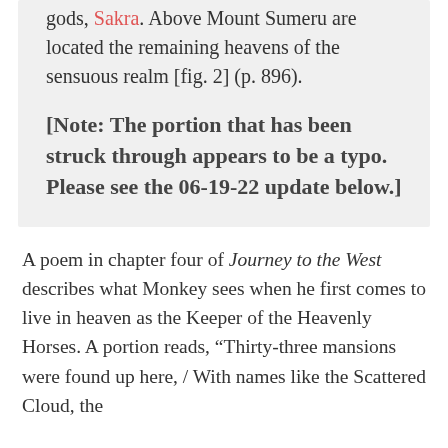gods, Sakra. Above Mount Sumeru are located the remaining heavens of the sensuous realm [fig. 2] (p. 896).
[Note: The portion that has been struck through appears to be a typo. Please see the 06-19-22 update below.]
A poem in chapter four of Journey to the West describes what Monkey sees when he first comes to live in heaven as the Keeper of the Heavenly Horses. A portion reads, “Thirty-three mansions were found up here, / With names like the Scattered Cloud, the